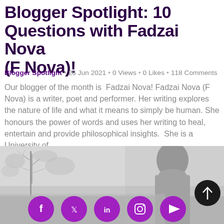Blogger Spotlight: 10 Questions with Fadzai Nova (F Nova)!
Blogger Spotlight • 26 Jun 2021 • 0 Views • 0 Likes • 118 Comments
Our blogger of the month is  Fadzai Nova! Fadzai Nova (F Nova) is a writer, poet and performer. Her writing explores the nature of life and what it means to simply be human. She honours the power of words and uses her writing to heal, entertain and provide philosophical insights.  She is a University of…
→
[Figure (photo): Black and white photograph of a young woman looking to the right, with bare tree branches visible in the blurred background. Social media icons (Facebook, Twitter, LinkedIn, Instagram, YouTube) in purple circles at the bottom left, and a dark scroll-up button at the right.]